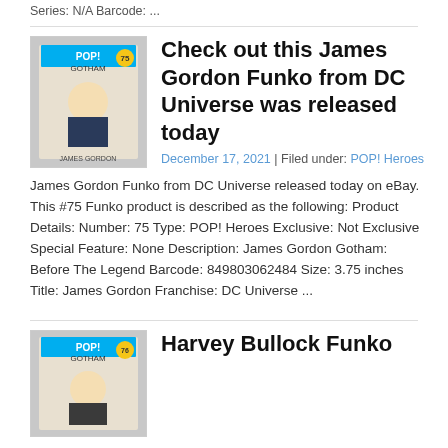Series: N/A Barcode: ...
[Figure (photo): James Gordon Funko Pop figure #75 from Gotham DC Universe in box]
Check out this James Gordon Funko from DC Universe was released today
December 17, 2021 | Filed under: POP! Heroes
James Gordon Funko from DC Universe released today on eBay. This #75 Funko product is described as the following: Product Details: Number: 75 Type: POP! Heroes Exclusive: Not Exclusive Special Feature: None Description: James Gordon Gotham: Before The Legend Barcode: 849803062484 Size: 3.75 inches Title: James Gordon Franchise: DC Universe ...
[Figure (photo): Harvey Bullock Funko Pop figure from Gotham in box]
Harvey Bullock Funko